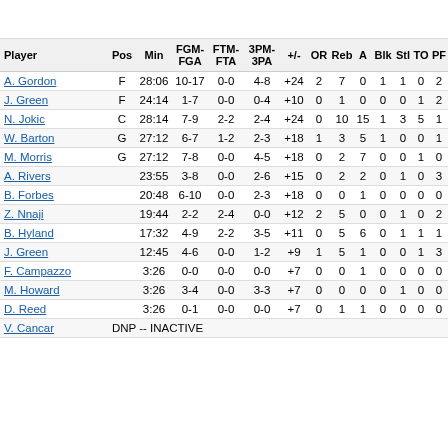| Player | Pos | Min | FGM-FGA | FTM-FTA | 3PM-3PA | +/- | OR | Reb | A | Blk | Stl | TO | PF | Pts |
| --- | --- | --- | --- | --- | --- | --- | --- | --- | --- | --- | --- | --- | --- | --- |
| A. Gordon | F | 28:06 | 10-17 | 0-0 | 4-8 | +24 | 2 | 7 | 0 | 1 | 1 | 0 | 2 | 2 |
| J. Green | F | 24:14 | 1-7 | 0-0 | 0-4 | +10 | 0 | 1 | 0 | 0 | 0 | 1 | 2 | 2 |
| N. Jokic | C | 28:14 | 7-9 | 2-2 | 2-4 | +24 | 0 | 10 | 15 | 1 | 3 | 5 | 1 | 1 |
| W. Barton | G | 27:12 | 6-7 | 1-2 | 2-3 | +18 | 1 | 3 | 5 | 1 | 0 | 0 | 1 | 1 |
| M. Morris | G | 27:12 | 7-8 | 0-0 | 4-5 | +18 | 0 | 2 | 7 | 0 | 0 | 1 | 0 | 1 |
| A. Rivers |  | 23:55 | 3-8 | 0-0 | 2-6 | +15 | 0 | 2 | 2 | 0 | 1 | 0 | 3 | 8 |
| B. Forbes |  | 20:48 | 6-10 | 0-0 | 2-3 | +18 | 0 | 0 | 1 | 0 | 0 | 0 | 0 | 1 |
| Z. Nnaji |  | 19:44 | 2-2 | 2-4 | 0-0 | +12 | 2 | 5 | 0 | 0 | 1 | 0 | 2 | 6 |
| B. Hyland |  | 17:32 | 4-9 | 2-2 | 3-5 | +11 | 0 | 5 | 6 | 0 | 1 | 1 | 1 | 1 |
| J. Green |  | 12:45 | 4-6 | 0-0 | 1-2 | +9 | 1 | 5 | 1 | 0 | 0 | 1 | 3 | 9 |
| F. Campazzo |  | 3:26 | 0-0 | 0-0 | 0-0 | +7 | 0 | 0 | 1 | 0 | 0 | 0 | 0 | 0 |
| M. Howard |  | 3:26 | 3-4 | 0-0 | 3-3 | +7 | 0 | 0 | 0 | 0 | 1 | 0 | 0 | 9 |
| D. Reed |  | 3:26 | 0-1 | 0-0 | 0-0 | +7 | 0 | 1 | 1 | 0 | 0 | 0 | 0 | 0 |
| V. Cancar | DNP -- INACTIVE |  |  |  |  |  |  |  |  |  |  |  |  |  |